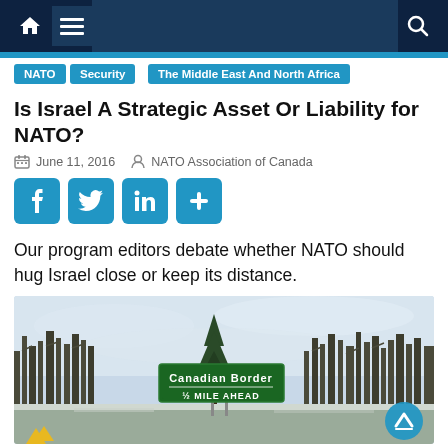NATO Association of Canada website navigation bar
NATO
Security
The Middle East And North Africa
Is Israel A Strategic Asset Or Liability for NATO?
June 11, 2016   NATO Association of Canada
[Figure (screenshot): Social sharing buttons: Facebook, Twitter, LinkedIn, and a share/add button, all in blue]
Our program editors debate whether NATO should hug Israel close or keep its distance.
[Figure (photo): A road sign reading 'Canadian Border 1/2 Mile Ahead' in front of bare winter trees under a pale sky]